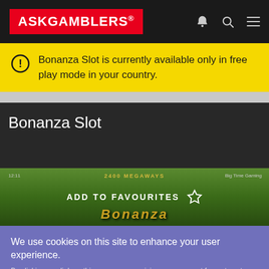ASKGAMBLERS
Bonanza Slot is currently available only in free play mode in your country.
Bonanza Slot
[Figure (screenshot): Bonanza Slot game preview image with ADD TO FAVOURITES overlay, showing 2400 MEGAWAYS text and colorful slot game graphics]
We use cookies on this site to enhance your user experience.
By clicking any link on this page you are giving your consent for us to set cookies.